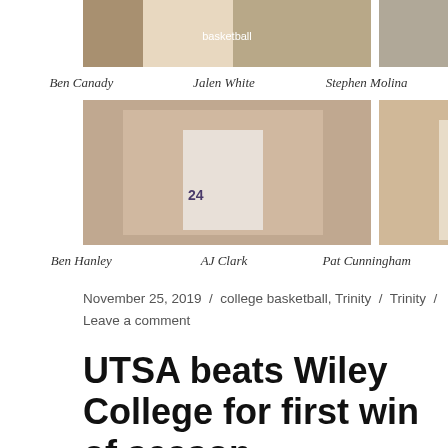[Figure (photo): Three basketball player photos in top row: Ben Canady, Jalen White, Stephen Molina]
Ben Canady   Jalen White   Stephen Molina
[Figure (photo): Three basketball action photos in second row: Ben Hanley, AJ Clark, Pat Cunningham]
Ben Hanley   AJ Clark   Pat Cunningham
November 25, 2019 / college basketball, Trinity / Trinity / Leave a comment
UTSA beats Wiley College for first win of season